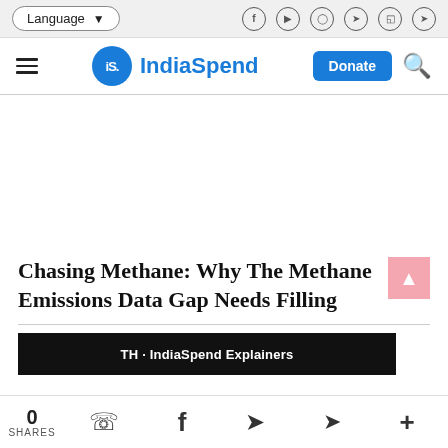Language [dropdown] | Social icons: Facebook, YouTube, Instagram, Twitter, Pinterest, Telegram
IndiaSpend | Donate | Search
Chasing Methane: Why The Methane Emissions Data Gap Needs Filling
[Figure (screenshot): Partial article image with black label bar reading 'TH · IndiaSpend Explainers']
0 SHARES | WhatsApp | Facebook | Twitter | Telegram | More